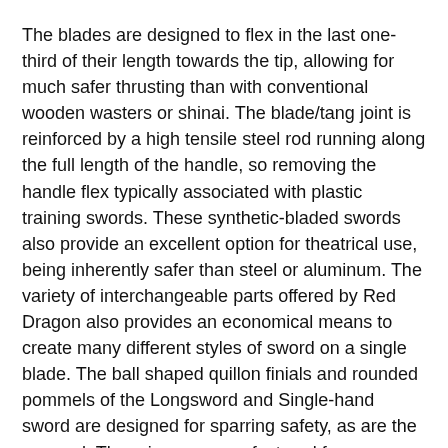The blades are designed to flex in the last one-third of their length towards the tip, allowing for much safer thrusting than with conventional wooden wasters or shinai. The blade/tang joint is reinforced by a high tensile steel rod running along the full length of the handle, so removing the handle flex typically associated with plastic training swords. These synthetic-bladed swords also provide an excellent option for theatrical use, being inherently safer than steel or aluminum. The variety of interchangeable parts offered by Red Dragon also provides an economical means to create many different styles of sword on a single blade. The ball shaped quillon finials and rounded pommels of the Longsword and Single-hand sword are designed for sparring safety, as are the pommel. The grips are manufactured from a rubber-like thermoplastic elastomer, designed to absorb the impact of strikes and to provide a tight fit on the tangs. These synthetic-bladed swords also provide an excellent option for theatrical use as well.
Overall: 48 1/2"